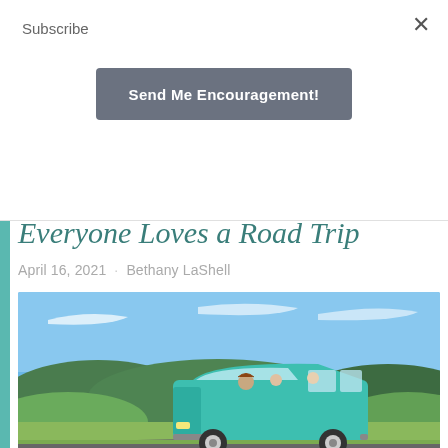Subscribe
Send Me Encouragement!
Everyone Loves a Road Trip
April 16, 2021   Bethany LaShell
[Figure (photo): A teal vintage van driving on a road through green rolling hills under a blue sky, with passengers visible through the windows.]
Everyone loves a good road trip—the freedom of the open road, escaping the everyday chores